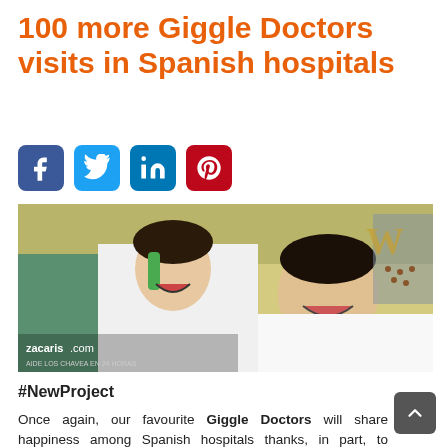100 more Giggle Doctors visits in Spanish hospitals
[Figure (other): Social media share icons: Facebook, Twitter, LinkedIn, Pinterest]
[Figure (photo): A giggle doctor (clown doctor) in a hospital room making a child patient laugh. The child is lying in a hospital bed. Photo credit: zacaris.com]
#NewProject
Once again, our favourite Giggle Doctors will share happiness among Spanish hospitals thanks, in part, to Worldcoo community.